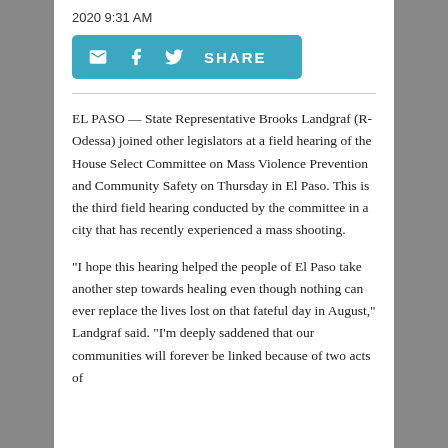2020 9:31 AM
[Figure (other): Social share bar with email, Facebook, Twitter icons and SHARE label]
EL PASO — State Representative Brooks Landgraf (R-Odessa) joined other legislators at a field hearing of the House Select Committee on Mass Violence Prevention and Community Safety on Thursday in El Paso. This is the third field hearing conducted by the committee in a city that has recently experienced a mass shooting.
"I hope this hearing helped the people of El Paso take another step towards healing even though nothing can ever replace the lives lost on that fateful day in August," Landgraf said. "I'm deeply saddened that our communities will forever be linked because of two acts of